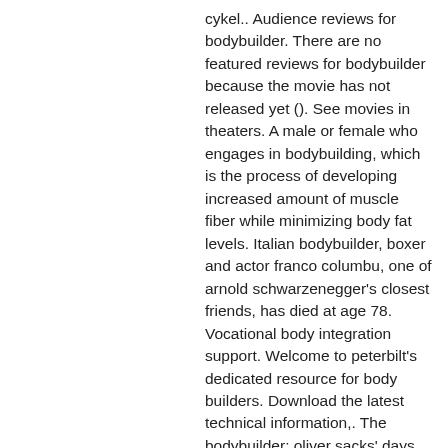cykel.. Audience reviews for bodybuilder. There are no featured reviews for bodybuilder because the movie has not released yet (). See movies in theaters. A male or female who engages in bodybuilding, which is the process of developing increased amount of muscle fiber while minimizing body fat levels. Italian bodybuilder, boxer and actor franco columbu, one of arnold schwarzenegger's closest friends, has died at age 78. Vocational body integration support. Welcome to peterbilt's dedicated resource for body builders. Download the latest technical information,. The bodybuilder: oliver sacks' days on muscle beach. The renowned neurologist remembers his bodybuilding days on venice, california's muscle. 763 free images of bodybuilder. Bodybuilder photos for download. This portal contains information on trucks sold by